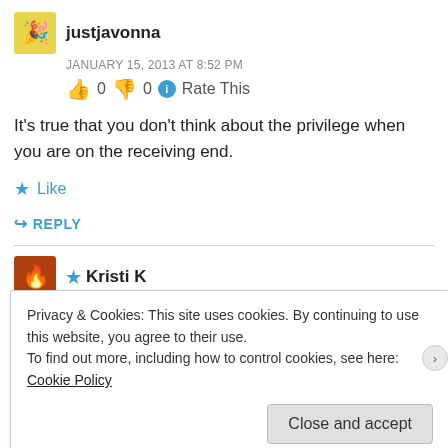justjavonna
JANUARY 15, 2013 AT 8:52 PM
👍 0 👎 0 ℹ Rate This
It's true that you don't think about the privilege when you are on the receiving end.
★ Like
↪ REPLY
★ Kristi K
Privacy & Cookies: This site uses cookies. By continuing to use this website, you agree to their use.
To find out more, including how to control cookies, see here: Cookie Policy
Close and accept